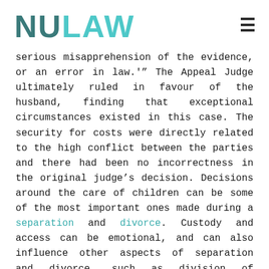NULAW
serious misapprehension of the evidence, or an error in law.'" The Appeal Judge ultimately ruled in favour of the husband, finding that exceptional circumstances existed in this case. The security for costs were directly related to the high conflict between the parties and there had been no incorrectness in the original judge’s decision. Decisions around the care of children can be some of the most important ones made during a separation and divorce. Custody and access can be emotional, and can also influence other aspects of separation and divorce, such as division of property and support. At NULaw our lawyers are